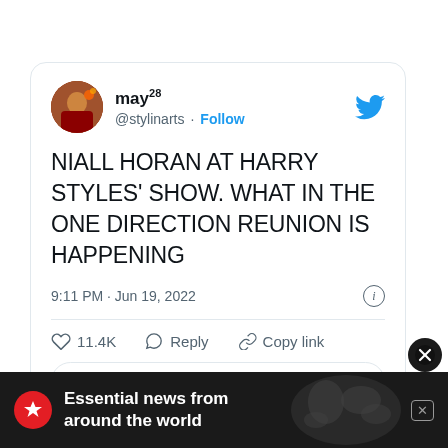[Figure (screenshot): A Twitter/X tweet card from user 'may28' (@stylinarts) with a Follow button. Tweet reads: 'NIALL HORAN AT HARRY STYLES' SHOW. WHAT IN THE ONE DIRECTION REUNION IS HAPPENING'. Timestamp: 9:11 PM · Jun 19, 2022. Likes: 11.4K. Actions: Reply, Copy link. Button: 'Read 12 replies'.]
[Figure (screenshot): Bottom advertisement bar with dark background showing 'Essential news from around the world' with a red logo and world map graphic.]